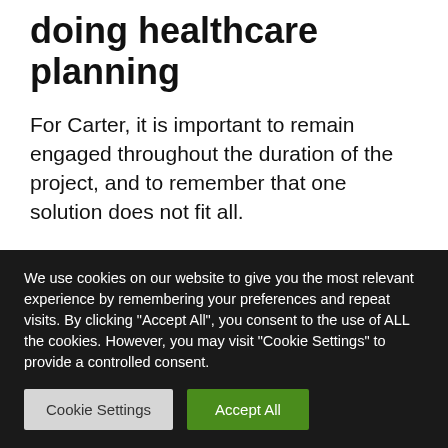doing healthcare planning
For Carter, it is important to remain engaged throughout the duration of the project, and to remember that one solution does not fit all.
“As I reflect on my time as a NYSID student, I value the understanding I gained of programmatic and operational requirements for a variety of
We use cookies on our website to give you the most relevant experience by remembering your preferences and repeat visits. By clicking “Accept All”, you consent to the use of ALL the cookies. However, you may visit “Cookie Settings” to provide a controlled consent.